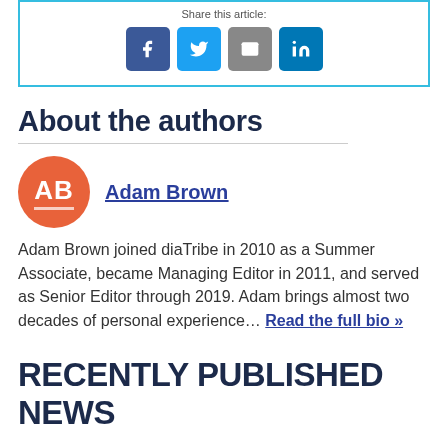[Figure (infographic): Share this article box with social media icons: Facebook (blue), Twitter (light blue), Email (gray), LinkedIn (dark blue)]
About the authors
[Figure (illustration): Orange circular avatar with white initials AB and underline]
Adam Brown
Adam Brown joined diaTribe in 2010 as a Summer Associate, became Managing Editor in 2011, and served as Senior Editor through 2019. Adam brings almost two decades of personal experience… Read the full bio »
RECENTLY PUBLISHED NEWS